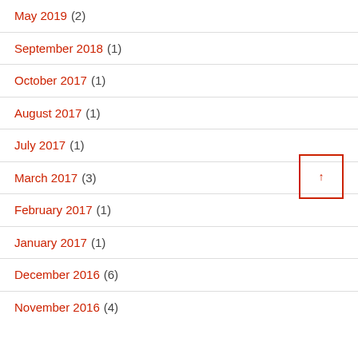May 2019 (2)
September 2018 (1)
October 2017 (1)
August 2017 (1)
July 2017 (1)
March 2017 (3)
February 2017 (1)
January 2017 (1)
December 2016 (6)
November 2016 (4)